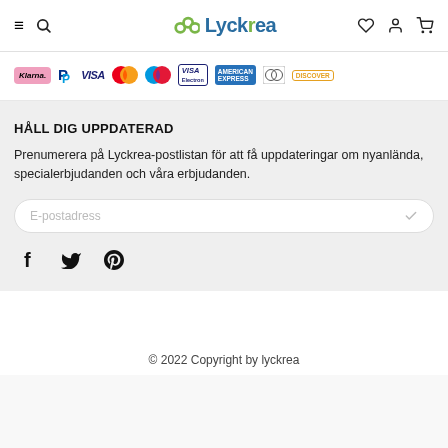≡  🔍  Lyckrea  ♡  👤  🛒
[Figure (logo): Payment provider logos: Klarna, PayPal, Visa, Mastercard, Maestro, Visa Electron, American Express, Diners Club, Discover]
HÅLL DIG UPPDATERAD
Prenumerera på Lyckrea-postlistan för att få uppdateringar om nyanlända, specialerbjudanden och våra erbjudanden.
E-postadress
[Figure (illustration): Social media icons: Facebook (f), Twitter (bird), Pinterest (P)]
© 2022 Copyright by lyckrea